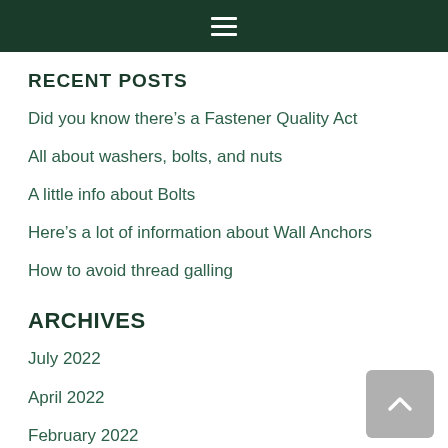≡ (hamburger menu icon)
RECENT POSTS
Did you know there's a Fastener Quality Act
All about washers, bolts, and nuts
A little info about Bolts
Here's a lot of information about Wall Anchors
How to avoid thread galling
ARCHIVES
July 2022
April 2022
February 2022
December 2021
October 2021